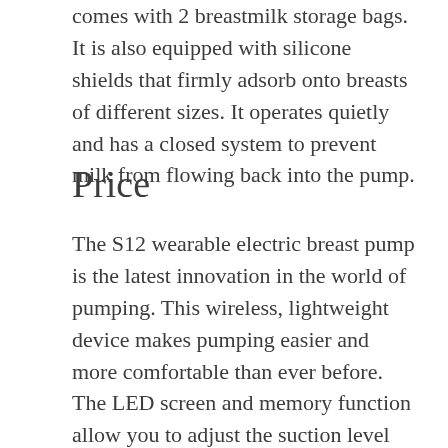comes with 2 breastmilk storage bags. It is also equipped with silicone shields that firmly adsorb onto breasts of different sizes. It operates quietly and has a closed system to prevent milk from flowing back into the pump.
Price
The S12 wearable electric breast pump is the latest innovation in the world of pumping. This wireless, lightweight device makes pumping easier and more comfortable than ever before. The LED screen and memory function allow you to adjust the suction level and provide the best comfort and ease. Unlike other pumps that require cords, the S12 wearable breast pump is easy to use, even if you’re on the go.